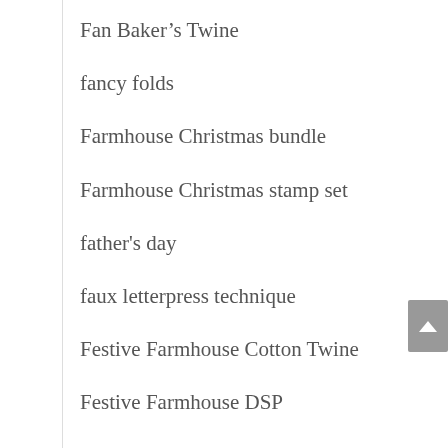Fan Baker’s Twine
fancy folds
Farmhouse Christmas bundle
Farmhouse Christmas stamp set
father's day
faux letterpress technique
Festive Farmhouse Cotton Twine
Festive Farmhouse DSP
Festive Foliage